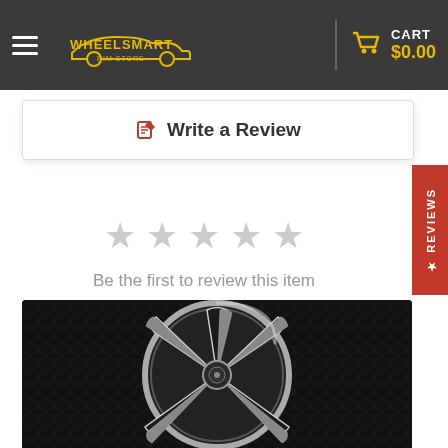WheelSmart Rim Store — CART $0.00
✎ Write a Review
★★★★★ Be the first to review this item
[Figure (photo): Close-up photo of a black and chrome five-spoke alloy wheel rim against a dark textured background]